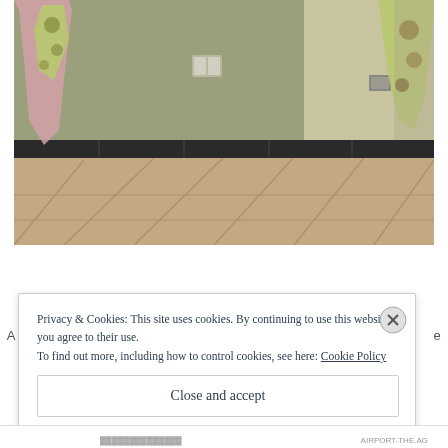[Figure (photo): Interior room photo showing a tiled floor with pinkish-brown tiles, olive green walls, a dark baseboard/skirting tile border, and colorful fabric/towels hanging on the left and right walls. A light switch plate is visible on the back wall.]
Privacy & Cookies: This site uses cookies. By continuing to use this website, you agree to their use. To find out more, including how to control cookies, see here: Cookie Policy
Close and accept